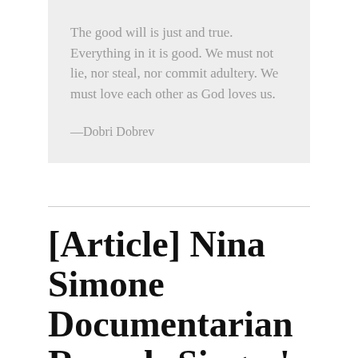The good will is just and true. Everything in it is good. We must not lie, nor steal, nor commit adultery. We must love each other as God loves us.

—Dobri Dobrev
[Article] Nina Simone Documentarian Reveals Singer's Shockingly Violent